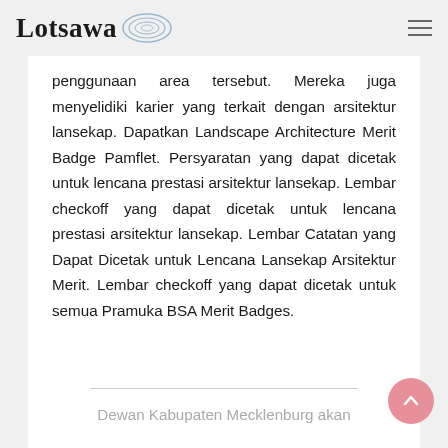Lotsawa [logo]
penggunaan area tersebut. Mereka juga menyelidiki karier yang terkait dengan arsitektur lansekap. Dapatkan Landscape Architecture Merit Badge Pamflet. Persyaratan yang dapat dicetak untuk lencana prestasi arsitektur lansekap. Lembar checkoff yang dapat dicetak untuk lencana prestasi arsitektur lansekap. Lembar Catatan yang Dapat Dicetak untuk Lencana Lansekap Arsitektur Merit. Lembar checkoff yang dapat dicetak untuk semua Pramuka BSA Merit Badges.
Dewan Kabupaten Mecklenburg akan